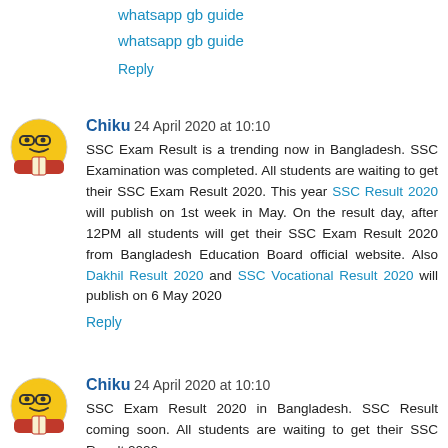whatsapp gb guide
whatsapp gb guide
Reply
Chiku 24 April 2020 at 10:10
SSC Exam Result is a trending now in Bangladesh. SSC Examination was completed. All students are waiting to get their SSC Exam Result 2020. This year SSC Result 2020 will publish on 1st week in May. On the result day, after 12PM all students will get their SSC Exam Result 2020 from Bangladesh Education Board official website. Also Dakhil Result 2020 and SSC Vocational Result 2020 will publish on 6 May 2020
Reply
Chiku 24 April 2020 at 10:10
SSC Exam Result 2020 in Bangladesh. SSC Result coming soon. All students are waiting to get their SSC Result 2020.